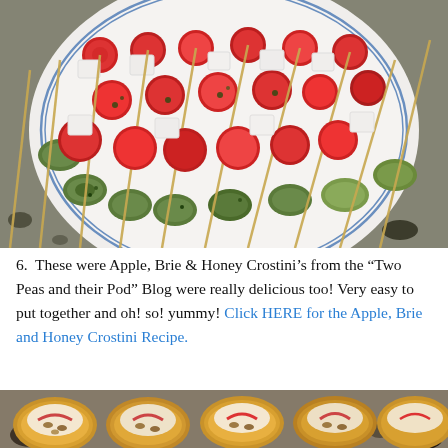[Figure (photo): A white plate with multiple skewers/appetizers featuring cherry tomatoes, white cheese cubes, and green tortellini pasta, drizzled with pesto, arranged on a granite counter.]
6.  These were Apple, Brie & Honey Crostini’s from the “Two Peas and their Pod” Blog were really delicious too! Very easy to put together and oh! so! yummy! Click HERE for the Apple, Brie and Honey Crostini Recipe.
[Figure (photo): Apple, Brie and Honey Crostini appetizers arranged on a granite counter, showing bread rounds topped with apple slices and melted brie.]